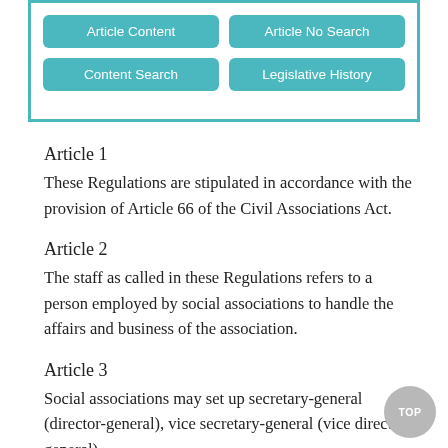[Figure (other): Navigation box with four teal buttons: Article Content, Article No Search, Content Search, Legislative History]
Article 1
These Regulations are stipulated in accordance with the provision of Article 66 of the Civil Associations Act.
Article 2
The staff as called in these Regulations refers to a person employed by social associations to handle the affairs and business of the association.
Article 3
Social associations may set up secretary-general (director-general), vice secretary-general (vice director-general),